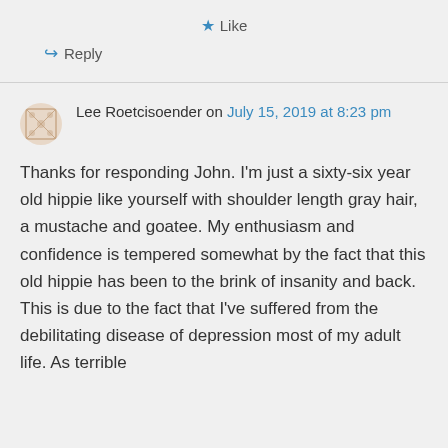★ Like
↪ Reply
Lee Roetcisoender on July 15, 2019 at 8:23 pm
Thanks for responding John. I'm just a sixty-six year old hippie like yourself with shoulder length gray hair, a mustache and goatee. My enthusiasm and confidence is tempered somewhat by the fact that this old hippie has been to the brink of insanity and back. This is due to the fact that I've suffered from the debilitating disease of depression most of my adult life. As terrible